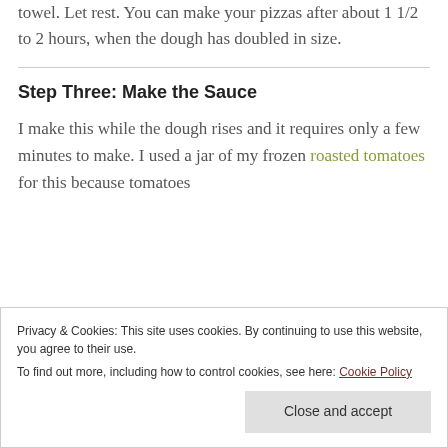towel. Let rest. You can make your pizzas after about 1 1/2 to 2 hours, when the dough has doubled in size.
Step Three: Make the Sauce
I make this while the dough rises and it requires only a few minutes to make. I used a jar of my frozen roasted tomatoes for this because tomatoes
Privacy & Cookies: This site uses cookies. By continuing to use this website, you agree to their use.
To find out more, including how to control cookies, see here: Cookie Policy